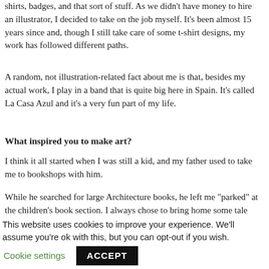shirts, badges, and that sort of stuff. As we didn't have money to hire an illustrator, I decided to take on the job myself. It's been almost 15 years since and, though I still take care of some t-shirt designs, my work has followed different paths.
A random, not illustration-related fact about me is that, besides my actual work, I play in a band that is quite big here in Spain. It's called La Casa Azul and it's a very fun part of my life.
What inspired you to make art?
I think it all started when I was still a kid, and my father used to take me to bookshops with him.
While he searched for large Architecture books, he left me "parked" at the children's book section. I always chose to bring home some tale books, which I still keep and are still a source
This website uses cookies to improve your experience. We'll assume you're ok with this, but you can opt-out if you wish.
Cookie settings   ACCEPT